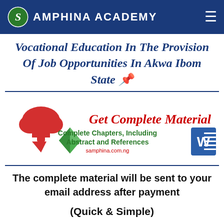SAMPHINA ACADEMY
Vocational Education In The Provision Of Job Opportunities In Akwa Ibom State
[Figure (infographic): Get Complete Material banner with red cloud download icon, green diamond book icon, Word document icon, text: Complete Chapters, Including Abstract and References, samphina.com.ng]
The complete material will be sent to your email address after payment
(Quick & Simple)